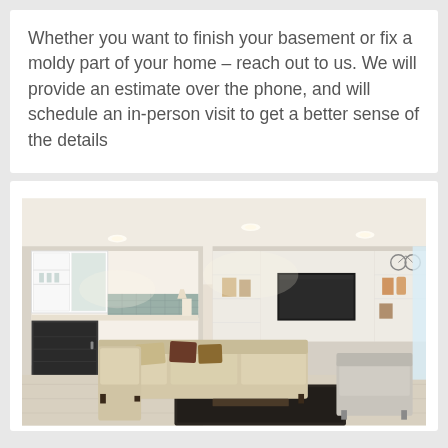Whether you want to finish your basement or fix a moldy part of your home – reach out to us. We will provide an estimate over the phone, and will schedule an in-person visit to get a better sense of the details
[Figure (photo): A finished basement living room with built-in white shelving, a flat-screen TV, a sectional sofa with pillows, a beverage refrigerator, white cabinetry with glass shelves, and a dark area rug on light flooring.]